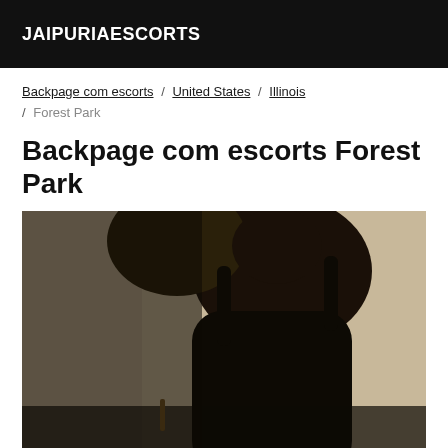JAIPURIAESCORTS
Backpage com escorts / United States / Illinois / Forest Park
Backpage com escorts Forest Park
[Figure (photo): A person wearing a black tank top, photographed from below chest level, silhouetted against a light beige wall background. The image is dark and shows the torso and raised arm of the subject.]